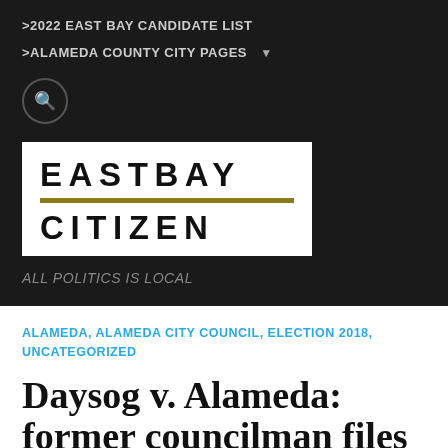>2022 EAST BAY CANDIDATE LIST
>ALAMEDA COUNTY CITY PAGES
[Figure (logo): East Bay Citizen logo — white box with EASTBAY in bold large letters, gold/olive horizontal divider line, CITIZEN in bold large letters below]
ALL POLITICS IS LOCAL
ALAMEDA, ALAMEDA CITY COUNCIL, ELECTION 2018, UNCATEGORIZED
Daysog v. Alameda: former councilman files lawsuit